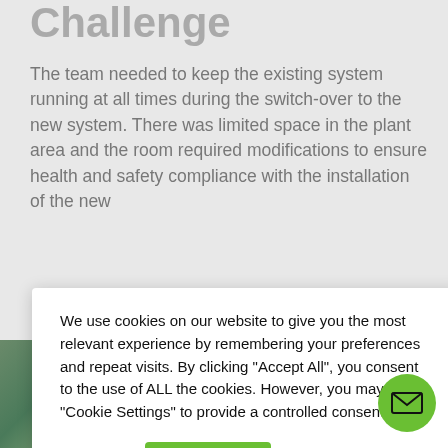Challenge
The team needed to keep the existing system running at all times during the switch-over to the new system. There was limited space in the plant area and the room required modifications to ensure health and safety compliance with the installation of the new
[Figure (photo): Two industrial plant photos side by side at bottom of page showing pipes and equipment]
We use cookies on our website to give you the most relevant experience by remembering your preferences and repeat visits. By clicking "Accept All", you consent to the use of ALL the cookies. However, you may visit "Cookie Settings" to provide a controlled consent.
Settings   Accept All